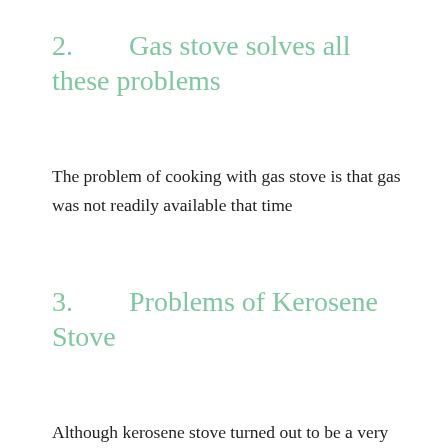2.        Gas stove solves all these problems
The problem of cooking with gas stove is that gas was not readily available that time
3.        Problems of Kerosene Stove
Although kerosene stove turned out to be a very good option, if it is not properly set, the fume or smoke stains cooking utensils black. Electric stove solves this problem.
After going through the problems of each type of stove and